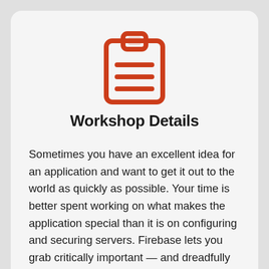[Figure (illustration): Clipboard icon with horizontal lines representing text, rendered in orange-red color]
Workshop Details
Sometimes you have an excellent idea for an application and want to get it out to the world as quickly as possible. Your time is better spent working on what makes the application special than it is on configuring and securing servers. Firebase lets you grab critically important — and dreadfully tedious to implement — components like authentication, file storage, cloud functions, and a real-time database off the shelf to get you moving quickly on a world